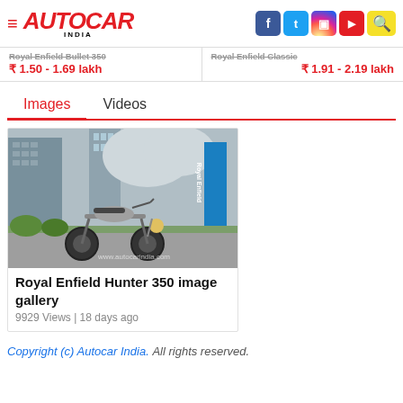AUTOCAR INDIA
Royal Enfield Bullet 350 ₹ 1.50 - 1.69 lakh
Royal Enfield Classic ₹ 1.91 - 2.19 lakh
Images   Videos
[Figure (photo): Royal Enfield Hunter 350 motorcycle parked outdoors with city buildings and Royal Enfield branded banner in background]
Royal Enfield Hunter 350 image gallery
9929 Views | 18 days ago
Copyright (c) Autocar India. All rights reserved.